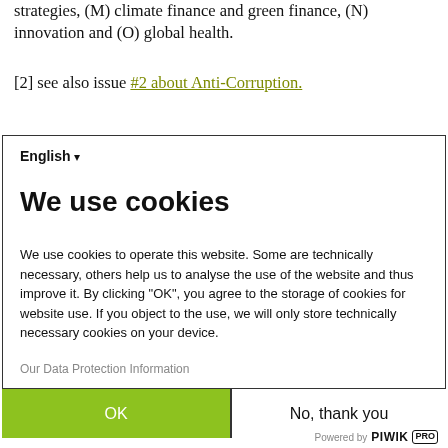strategies, (M) climate finance and green finance, (N) innovation and (O) global health.
[2] see also issue #2 about Anti-Corruption.
English ▾
We use cookies
We use cookies to operate this website. Some are technically necessary, others help us to analyse the use of the website and thus improve it. By clicking "OK", you agree to the storage of cookies for website use. If you object to the use, we will only store technically necessary cookies on your device.
Our Data Protection Information
OK
No, thank you
Powered by PIWIK PRO